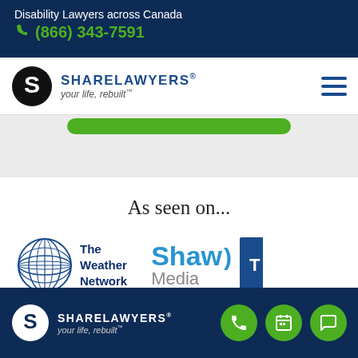Disability Lawyers across Canada
☎ (866) 343-7591
[Figure (logo): Share Lawyers logo with circular S emblem and tagline 'your life, rebuilt']
As seen on...
[Figure (logo): The Weather Network logo with globe graphic]
[Figure (logo): Shaw Media logo in blue]
[Figure (logo): Partial T logo clipped at right edge]
Share Lawyers — your life, rebuilt™
[Figure (other): Bottom navigation icons: phone, calendar, chat]